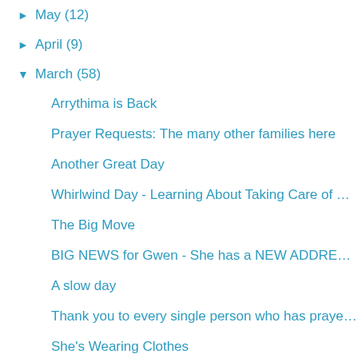► May (12)
► April (9)
▼ March (58)
Arrythima is Back
Prayer Requests: The many other families here
Another Great Day
Whirlwind Day - Learning About Taking Care of…
The Big Move
BIG NEWS for Gwen - She has a NEW ADDRE…
A slow day
Thank you to every single person who has praye…
She's Wearing Clothes
Dr. Sock Monkey is IN
Few more details
It's a good morning